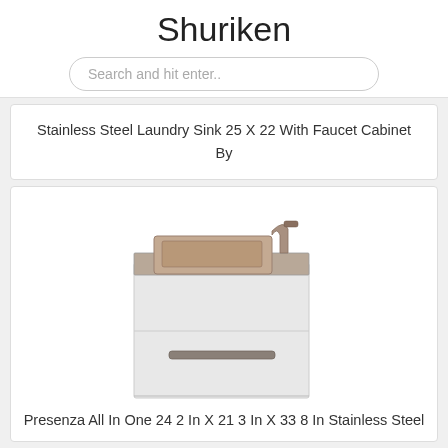Shuriken
Search and hit enter..
Stainless Steel Laundry Sink 25 X 22 With Faucet Cabinet By
[Figure (photo): White stainless steel laundry sink cabinet with a faucet mounted on top right, featuring a lower drawer with a long horizontal handle.]
Presenza All In One 24 2 In X 21 3 In X 33 8 In Stainless Steel